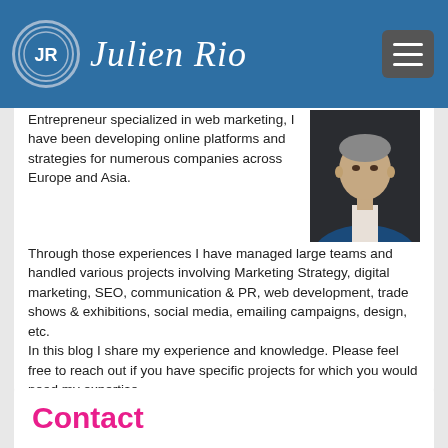Julien Rio
[Figure (logo): JR circular logo with blue border]
Entrepreneur specialized in web marketing, I have been developing online platforms and strategies for numerous companies across Europe and Asia.
Through those experiences I have managed large teams and handled various projects involving Marketing Strategy, digital marketing, SEO, communication & PR, web development, trade shows & exhibitions, social media, emailing campaigns, design, etc.
In this blog I share my experience and knowledge. Please feel free to reach out if you have specific projects for which you would need my expertise.
Julien Rio.
[Figure (photo): Portrait photo of Julien Rio in blue suit jacket]
[Figure (infographic): Social media icons: Twitter, LinkedIn, RSS feed in blue rounded squares]
Contact